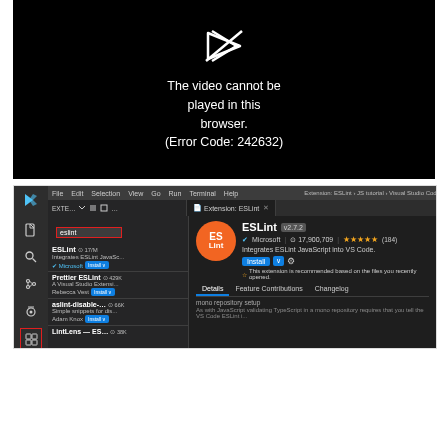[Figure (screenshot): Video player showing error message: 'The video cannot be played in this browser. (Error Code: 242632)' on black background with play arrow icon]
[Figure (screenshot): Visual Studio Code screenshot showing the Extensions panel with ESLint extension selected. The sidebar shows extensions list including ESLint, Prettier ESLint, aslint-disable, and LintLens. The detail pane shows ESLint by Microsoft with 17,900,709 downloads, 4.5 stars (184 reviews), and description 'Integrates ESLint JavaScript into VS Code.' with an Install button. The Extensions icon in the activity bar is highlighted with a red box, and 'eslint' is typed in the search box (also highlighted with red box).]